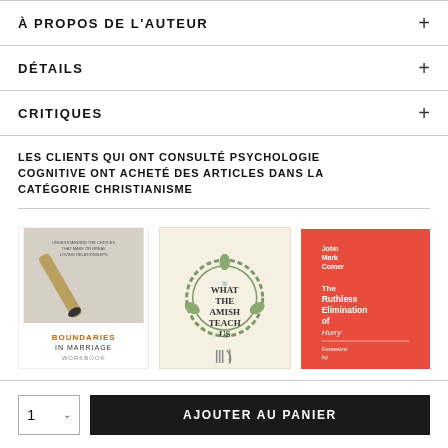À PROPOS DE L'AUTEUR
DÉTAILS
CRITIQUES
LES CLIENTS QUI ONT CONSULTÉ PSYCHOLOGIE COGNITIVE ONT ACHETÉ DES ARTICLES DANS LA CATÉGORIE CHRISTIANISME
[Figure (photo): Book cover: Boundaries in Marriage Workbook]
[Figure (photo): Book cover: What the Amish Teach Us]
[Figure (photo): Book cover: The Ruthless Elimination of Hurry by John Mark Comer]
1  ∨
AJOUTER AU PANIER